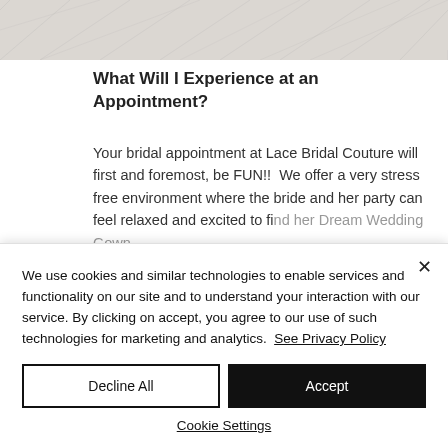[Figure (photo): Close-up photo of white lace fabric texture, showing radiating lace pattern]
What Will I Experience at an Appointment?
Your bridal appointment at Lace Bridal Couture will first and foremost, be FUN!!  We offer a very stress free environment where the bride and her party can feel relaxed and excited to find her Dream Wedding Gown...
We use cookies and similar technologies to enable services and functionality on our site and to understand your interaction with our service. By clicking on accept, you agree to our use of such technologies for marketing and analytics.  See Privacy Policy
Decline All
Accept
Cookie Settings